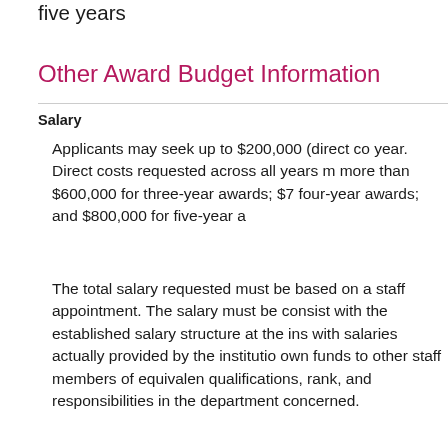five years
Other Award Budget Information
Salary
Applicants may seek up to $200,000 (direct co... year. Direct costs requested across all years m... more than $600,000 for three-year awards; $7... four-year awards; and $800,000 for five-year a...
The total salary requested must be based on a staff appointment. The salary must be consist... with the established salary structure at the ins... with salaries actually provided by the institutio... own funds to other staff members of equivalen... qualifications, rank, and responsibilities in the department concerned.